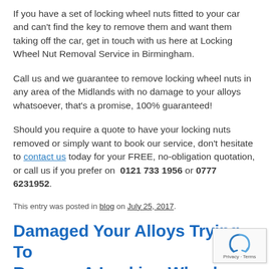If you have a set of locking wheel nuts fitted to your car and can't find the key to remove them and want them taking off the car, get in touch with us here at Locking Wheel Nut Removal Service in Birmingham.
Call us and we guarantee to remove locking wheel nuts in any area of the Midlands with no damage to your alloys whatsoever, that's a promise, 100% guaranteed!
Should you require a quote to have your locking nuts removed or simply want to book our service, don't hesitate to contact us today for your FREE, no-obligation quotation, or call us if you prefer on  0121 733 1956 or 0777 6231952.
This entry was posted in blog on July 25, 2017.
Damaged Your Alloys Trying To Remove A Locking Wheel Nut?